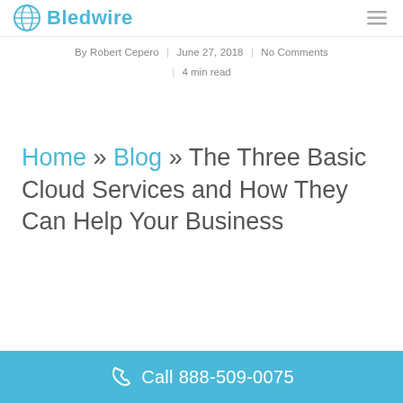Bledwire
By Robert Cepero | June 27, 2018 | No Comments | 4 min read
Home » Blog » The Three Basic Cloud Services and How They Can Help Your Business
Call 888-509-0075